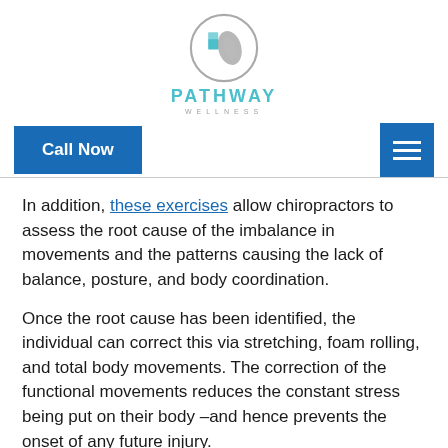[Figure (logo): Pathway Wellness circular logo with spine/leaf design, teal and grey colors]
Call Now | Menu
In addition, these exercises allow chiropractors to assess the root cause of the imbalance in movements and the patterns causing the lack of balance, posture, and body coordination.
Once the root cause has been identified, the individual can correct this via stretching, foam rolling, and total body movements. The correction of the functional movements reduces the constant stress being put on their body –and hence prevents the onset of any future injury.